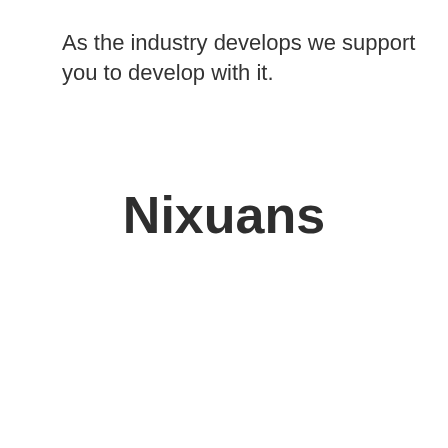As the industry develops we support you to develop with it.
Nixuans